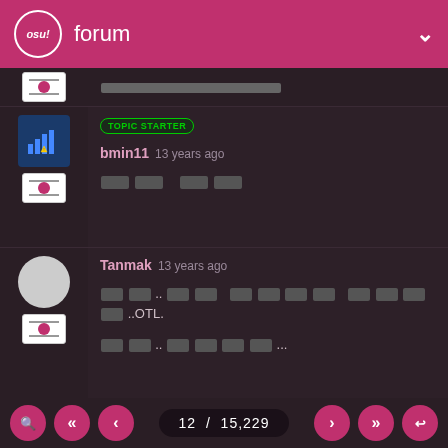osu! forum
[truncated post top]
TOPIC STARTER | bmin11 13 years ago | [Korean characters]
Tanmak 13 years ago | [Korean characters]..OTL. | [Korean characters]...
GGplay(N) 13 years ago | [Korean text block]
12 / 15,229